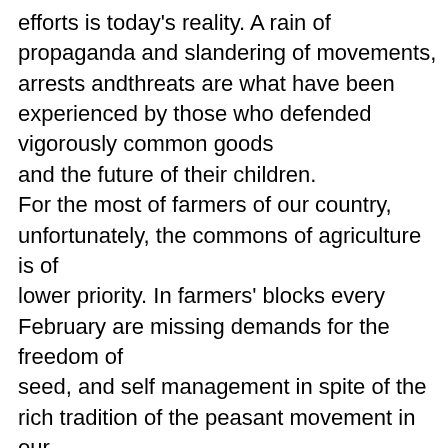efforts is today's reality. A rain of propaganda and slandering of movements, arrests andthreats are what have been experienced by those who defended vigorously common goods and the future of their children. For the most of farmers of our country, unfortunately, the commons of agriculture is of lower priority. In farmers' blocks every February are missing demands for the freedom of seed, and self management in spite of the rich tradition of the peasant movement in our country. Adherence to subsidies and monocultures, the emphasis on agriculture under contracts and persistence in Pharaonic project of the diversion of Acheloos river to plains indicate the priorities of today's agricultural world. Despite the strong seed movement in Greece, the vast majority of farmers still winks at hybrids, intensive crops, subsidies and